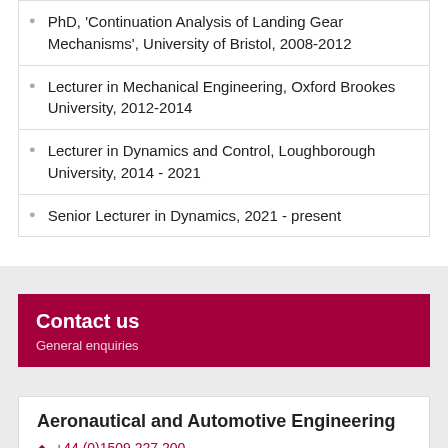PhD, 'Continuation Analysis of Landing Gear Mechanisms', University of Bristol, 2008-2012
Lecturer in Mechanical Engineering, Oxford Brookes University, 2012-2014
Lecturer in Dynamics and Control, Loughborough University, 2014 - 2021
Senior Lecturer in Dynamics, 2021 - present
Contact us
General enquiries
Aeronautical and Automotive Engineering
+44 (0)1509 227 200